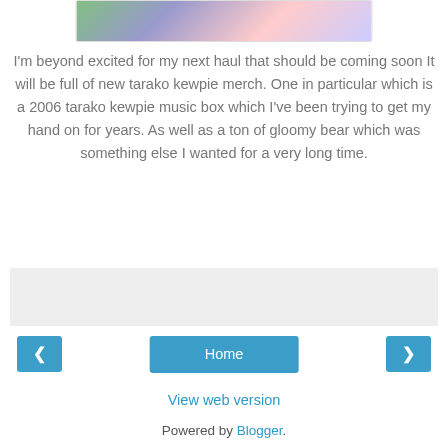[Figure (illustration): Partial view of a colorful illustrated image, appears to show cartoon/anime-style characters with green, pink and blue colors]
I'm beyond excited for my next haul that should be coming soon It will be full of new tarako kewpie merch. One in particular which is a 2006 tarako kewpie music box which I've been trying to get my hand on for years. As well as a ton of gloomy bear which was something else I wanted for a very long time.
[Figure (other): Gray/light colored rectangular banner area, possibly an advertisement placeholder]
< Home >
View web version
Powered by Blogger.